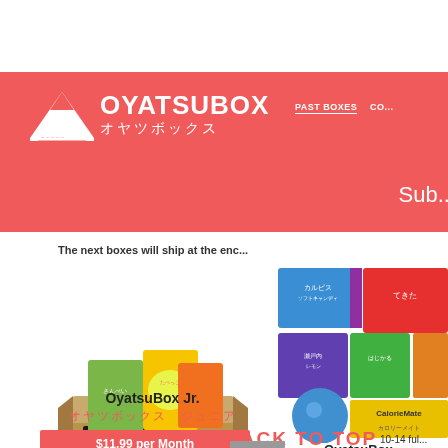[Figure (logo): OyatsuBox logo with Mount Fuji icon, English text OYATSUBOX and Japanese text オヤツボックス on red banner]
PAST BOXES  CO...
Sub...
The next boxes will ship at the enc...
[Figure (photo): OyatsuBox Jr. product box containing Japanese snacks including Crunky chocolate bar, colorful candy bags]
OyatsuBox Jr.
オヤツボックス　ジュニア
$11.99 per Month
[Figure (photo): OyatsuBox full-size box with multiple Japanese snacks including Calpis candy, CalorieMate, and various others]
OyatsuBox...
オヤツボック...
BACK TO TOP
10-14 ful...